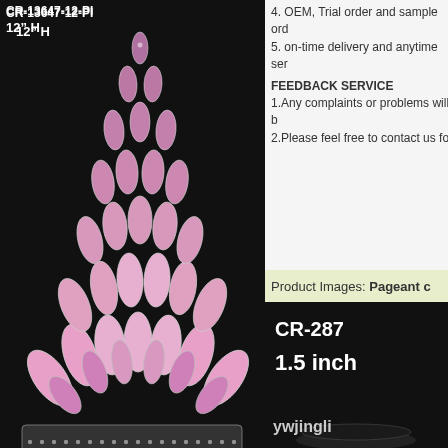[Figure (photo): Pink crystal pageant crown labeled CR-13647-12-PI, 12 inch H, on black background]
CR-13647-12-PI
12" H
[Figure (photo): Blue/teal crystal pageant crown labeled CR-13565-4-A, 4 inch H, on black background]
CR-13565-4-A
4" H
CR-16138-10
10" H
4. OEM, Trial order and sample ord
5. on-time delivery and anytime ser
FEEDBACK SERVICE
1.Any complaints or problems will b
2.Please feel free to contact us for
Product Images:  Pageant c
[Figure (photo): Pageant crown CR-287, 1.5 inch, on black background with ywjingli watermark]